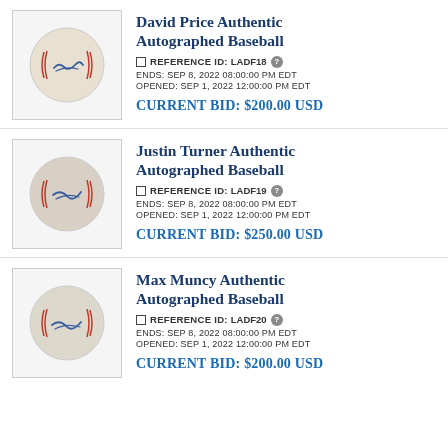[Figure (photo): Autographed baseball with blue signature, displayed on gray background]
David Price Authentic Autographed Baseball
□ REFERENCE ID: LADF18 ?
ENDS: SEP 8, 2022 08:00:00 PM EDT
OPENED: SEP 1, 2022 12:00:00 PM EDT
CURRENT BID: $200.00 USD
[Figure (photo): Autographed baseball with signature, displayed on gray background]
Justin Turner Authentic Autographed Baseball
□ REFERENCE ID: LADF19 ?
ENDS: SEP 8, 2022 08:00:00 PM EDT
OPENED: SEP 1, 2022 12:00:00 PM EDT
CURRENT BID: $250.00 USD
[Figure (photo): Autographed baseball with signature, displayed on gray background]
Max Muncy Authentic Autographed Baseball
□ REFERENCE ID: LADF20 ?
ENDS: SEP 8, 2022 08:00:00 PM EDT
OPENED: SEP 1, 2022 12:00:00 PM EDT
CURRENT BID: $200.00 USD